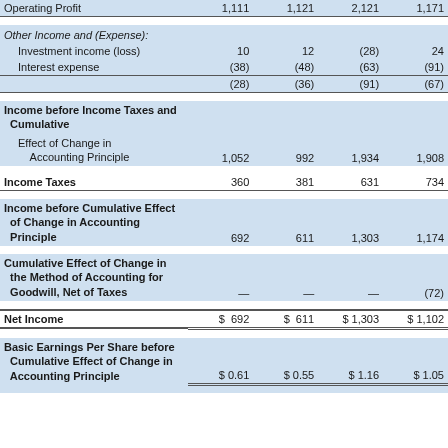|  | Col1 | Col2 | Col3 | Col4 |
| --- | --- | --- | --- | --- |
| Operating Profit | 1,111 | 1,121 | 2,121 | 1,171 |
| Other Income and (Expense): |  |  |  |  |
| Investment income (loss) | 10 | 12 | (28) | 24 |
| Interest expense | (38) | (48) | (63) | (91) |
|  | (28) | (36) | (91) | (67) |
| Income before Income Taxes and Cumulative Effect of Change in Accounting Principle | 1,052 | 992 | 1,934 | 1,908 |
| Income Taxes | 360 | 381 | 631 | 734 |
| Income before Cumulative Effect of Change in Accounting Principle | 692 | 611 | 1,303 | 1,174 |
| Cumulative Effect of Change in the Method of Accounting for Goodwill, Net of Taxes | — | — | — | (72) |
| Net Income | $ 692 | $ 611 | $ 1,303 | $ 1,102 |
| Basic Earnings Per Share before Cumulative Effect of Change in Accounting Principle | $ 0.61 | $ 0.55 | $ 1.16 | $ 1.05 |